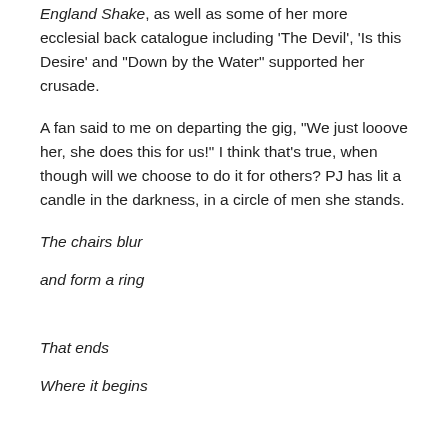England Shake, as well as some of her more ecclesial back catalogue including 'The Devil', 'Is this Desire' and "Down by the Water" supported her crusade.
A fan said to me on departing the gig, "We just looove her, she does this for us!" I think that's true, when though will we choose to do it for others? PJ has lit a candle in the darkness, in a circle of men she stands.
The chairs blur
and form a ring
That ends
Where it begins